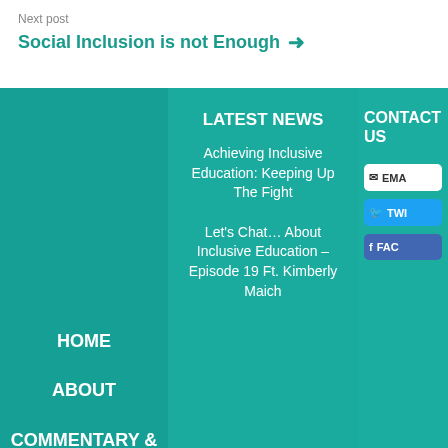Next post
Social Inclusion is not Enough →
HOME
ABOUT
COMMENTARY & NEWS
LEARN
LATEST NEWS
Achieving Inclusive Education: Keeping Up The Fight
Let's Chat… About Inclusive Education – Episode 19 Ft. Kimberly Maich
CONTACT US
EMAIL
TWITTER
FACEBOOK
Let's Chat… About Inclusive Education – Ft. Cornelia Schneider
[Figure (logo): Inclusive Education Canada logo with purple swoosh icon and text reading 'inclusive education Canada']